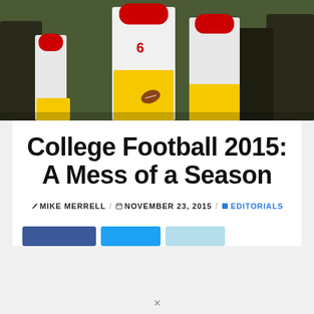[Figure (photo): College football game action photo showing USC players in white and gold uniforms competing against players in black jerseys. A quarterback wearing #6 in a white USC uniform is prominent, with a loose football visible near the ground.]
College Football 2015: A Mess of a Season
MIKE MERRELL / NOVEMBER 23, 2015 / EDITORIALS